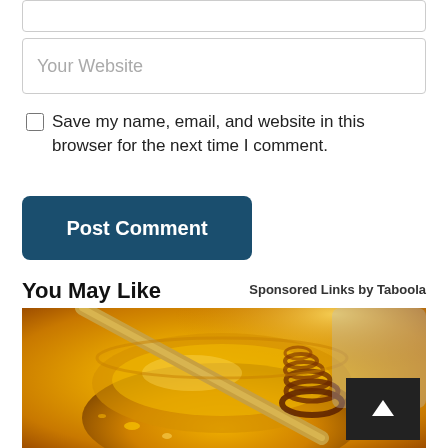Your Website
Save my name, email, and website in this browser for the next time I comment.
Post Comment
You May Like
Sponsored Links by Taboola
[Figure (photo): Close-up photo of a jar of honey with a wooden honey dipper resting in it, golden amber honey visible, warm golden tones]